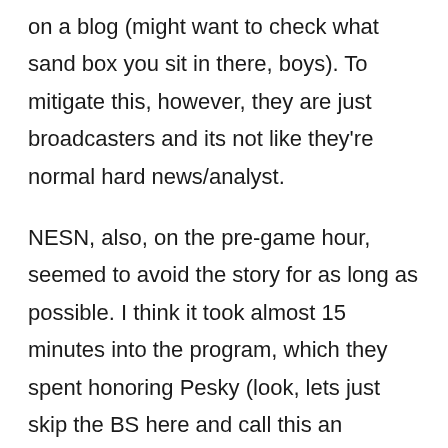on a blog (might want to check what sand box you sit in there, boys). To mitigate this, however, they are just broadcasters and its not like they're normal hard news/analyst.
NESN, also, on the pre-game hour, seemed to avoid the story for as long as possible. I think it took almost 15 minutes into the program, which they spent honoring Pesky (look, lets just skip the BS here and call this an obvious “executive programming decision”). CSNNE? Led with the